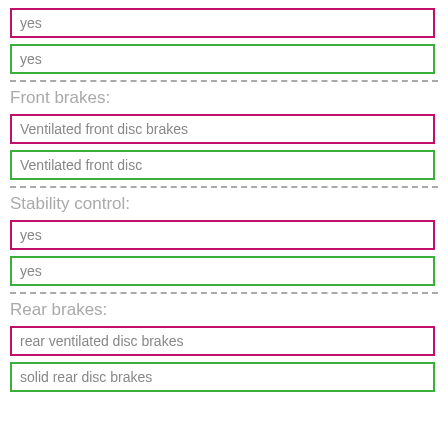yes
yes
Front brakes:
Ventilated front disc brakes
Ventilated front disc
Stability control:
yes
yes
Rear brakes:
rear ventilated disc brakes
solid rear disc brakes